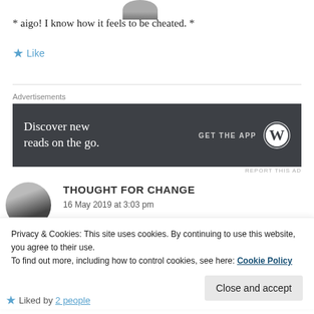[Figure (photo): Circular avatar photo of a person, partially visible at top]
* aigo! I know how it feels to be cheated. *
★ Like
Advertisements
[Figure (screenshot): Dark advertisement banner: 'Discover new reads on the go. GET THE APP' with WordPress logo]
REPORT THIS AD
[Figure (photo): Circular avatar photo of a person with dark hair]
THOUGHT FOR CHANGE
16 May 2019 at 3:03 pm
Privacy & Cookies: This site uses cookies. By continuing to use this website, you agree to their use.
To find out more, including how to control cookies, see here: Cookie Policy
Close and accept
★ Liked by 2 people